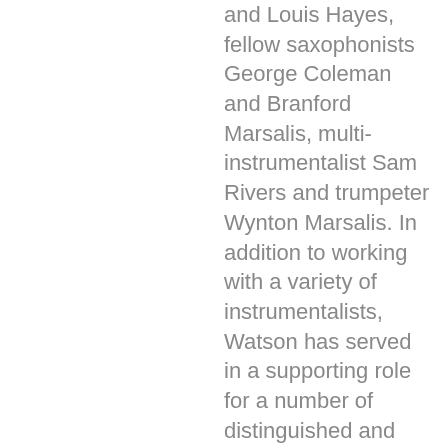and Louis Hayes, fellow saxophonists George Coleman and Branford Marsalis, multi-instrumentalist Sam Rivers and trumpeter Wynton Marsalis. In addition to working with a variety of instrumentalists, Watson has served in a supporting role for a number of distinguished and stylistically varied vocalists, including: Joe Williams, Dianne Reeves, Lou Rawls